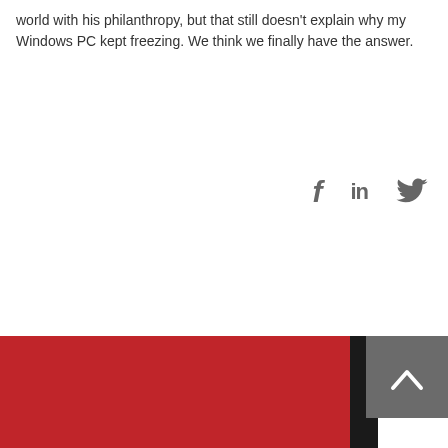world with his philanthropy, but that still doesn't explain why my Windows PC kept freezing. We think we finally have the answer.
[Figure (illustration): Social media sharing icons: Facebook (f), LinkedIn (in), and Twitter (bird icon) in gray]
[Figure (photo): Bottom portion of page showing a man's face against a red and black background, with a gray back-to-top button (chevron up arrow) in the bottom right corner]